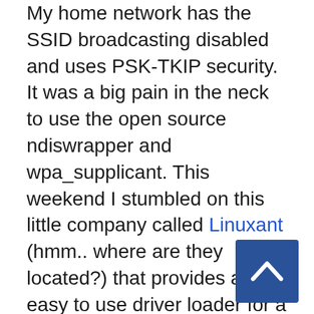My home network has the SSID broadcasting disabled and uses PSK-TKIP security. It was a big pain in the neck to use the open source ndiswrapper and wpa_supplicant. This weekend I stumbled on this little company called Linuxant (hmm.. where are they located?) that provides an easy to use driver loader for a nominant price of $19(US). They allow you to try the software for upto a month. I don't mind paying that for a linux company if it really works and makes my life easier.
Did I make the right decision to go with Linuxant's driver loader. Oh yes, it is a breeze to install the driver. Honestly this is the first time I've experienced a browser based install of linux software. Here are the steps in brief to
[Figure (other): Blue scroll-to-top button with white upward chevron arrow, positioned at bottom right of page]